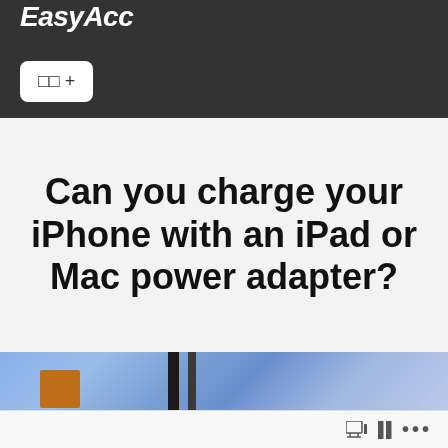EasyAcc
[Figure (screenshot): Navigation button with Korean characters and plus sign on dark header bar]
Can you charge your iPhone with an iPad or Mac power adapter?
[Figure (photo): Blurred blue background with dark vertical stripes and an orange rectangular object on the left side]
Toolbar icons and ellipsis menu at bottom right